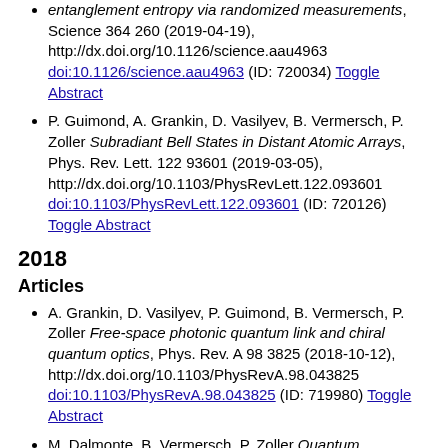entanglement entropy via randomized measurements, Science 364 260 (2019-04-19), http://dx.doi.org/10.1126/science.aau4963 doi:10.1126/science.aau4963 (ID: 720034) Toggle Abstract
P. Guimond, A. Grankin, D. Vasilyev, B. Vermersch, P. Zoller Subradiant Bell States in Distant Atomic Arrays, Phys. Rev. Lett. 122 93601 (2019-03-05), http://dx.doi.org/10.1103/PhysRevLett.122.093601 doi:10.1103/PhysRevLett.122.093601 (ID: 720126) Toggle Abstract
2018
Articles
A. Grankin, D. Vasilyev, P. Guimond, B. Vermersch, P. Zoller Free-space photonic quantum link and chiral quantum optics, Phys. Rev. A 98 3825 (2018-10-12), http://dx.doi.org/10.1103/PhysRevA.98.043825 doi:10.1103/PhysRevA.98.043825 (ID: 719980) Toggle Abstract
M. Dalmonte, B. Vermersch, P. Zoller Quantum simulation and spectroscopy of entanglement Hamiltonians, Nature Phys. 14 151 (2018-05-21),